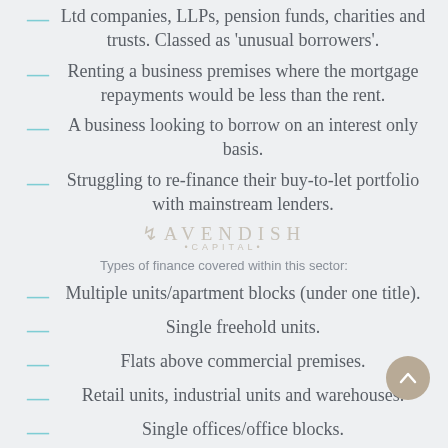Ltd companies, LLPs, pension funds, charities and trusts. Classed as 'unusual borrowers'.
Renting a business premises where the mortgage repayments would be less than the rent.
A business looking to borrow on an interest only basis.
Struggling to re-finance their buy-to-let portfolio with mainstream lenders.
[Figure (logo): Cavendish Capital watermark logo]
Types of finance covered within this sector:
Multiple units/apartment blocks (under one title).
Single freehold units.
Flats above commercial premises.
Retail units, industrial units and warehouses.
Single offices/office blocks.